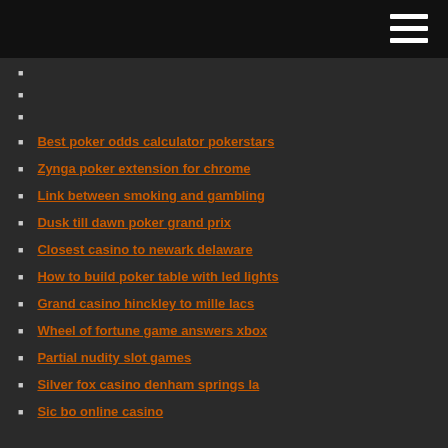Best poker odds calculator pokerstars
Zynga poker extension for chrome
Link between smoking and gambling
Dusk till dawn poker grand prix
Closest casino to newark delaware
How to build poker table with led lights
Grand casino hinckley to mille lacs
Wheel of fortune game answers xbox
Partial nudity slot games
Silver fox casino denham springs la
Sic bo online casino